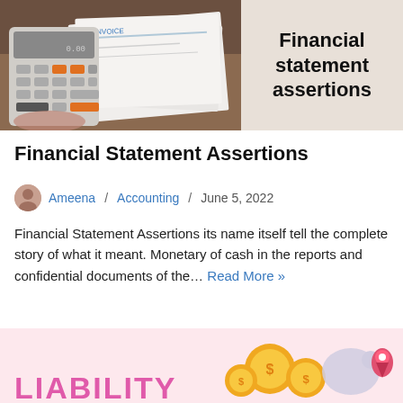[Figure (photo): Photo of a calculator with invoices/documents on a wooden desk, alongside a beige textured background with bold text reading 'Financial statement assertions']
Financial Statement Assertions
Ameena / Accounting / June 5, 2022
Financial Statement Assertions its name itself tell the complete story of what it meant. Monetary of cash in the reports and confidential documents of the… Read More »
[Figure (illustration): Pink background infographic with coins, piggy bank, and location pin icons, with large pink text 'LIABILITY' at the bottom left]